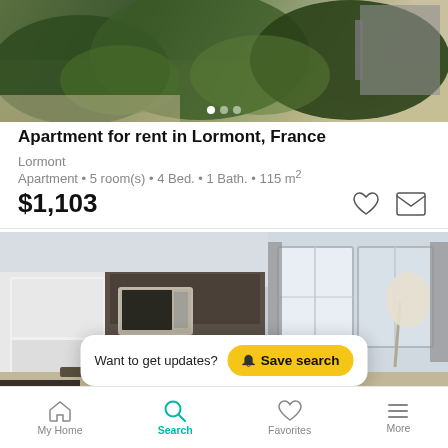[Figure (photo): Outdoor photo showing greenery, trees, and a structure in the background. Carousel dot indicator visible at bottom.]
Apartment for rent in Lormont, France
Lormont
Apartment • 5 room(s) • 4 Bed. • 1 Bath. • 115 m²
$1,103
[Figure (photo): Interior photo of a modern apartment showing kitchen area with white appliances, microwave, and a living area with large windows and curtains.]
Want to get updates?  Save search
My Home  Search  Favorites  More